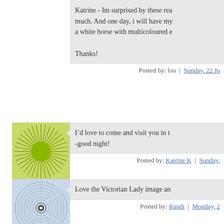Katrine - Im surprised by these rea much. And one day, i will have my a white horse with multicoloured e
Thanks!
Posted by: lou | Sunday, 22 Ju
[Figure (illustration): Green sunburst avatar icon]
I`d love to come and visit you in t -good night!
Posted by: Katrine K | Sunday,
[Figure (illustration): Blue spiral/geometric avatar icon]
Love the Victorian Lady image an
Posted by: Randi | Monday, 2
[Figure (illustration): Green sunburst avatar icon]
i'm not in England but...it's rainy t Fortunately, I'm happy when seein
Posted by: wictoria | Monday,
[Figure (illustration): Colorful mosaic avatar icon (partial)]